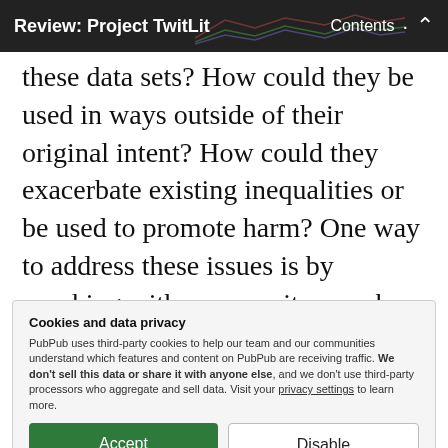Review: Project TwitLit · Contents ↑
these data sets? How could they be used in ways outside of their original intent? How could they exacerbate existing inequalities or be used to promote harm? One way to address these issues is by speaking with community members to determine how the project can best meet
Cookies and data privacy
PubPub uses third-party cookies to help our team and our communities understand which features and content on PubPub are receiving traffic. We don't sell this data or share it with anyone else, and we don't use third-party processors who aggregate and sell data. Visit your privacy settings to learn more.
[Accept] [Disable]
ethic of care that will benefit both the